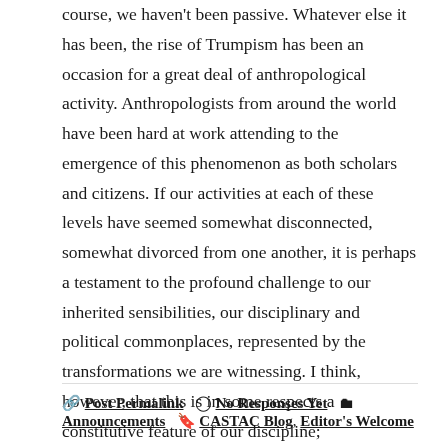course, we haven't been passive. Whatever else it has been, the rise of Trumpism has been an occasion for a great deal of anthropological activity. Anthropologists from around the world have been hard at work attending to the emergence of this phenomenon as both scholars and citizens. If our activities at each of these levels have seemed somewhat disconnected, somewhat divorced from one another, it is perhaps a testament to the profound challenge to our inherited sensibilities, our disciplinary and political commonplaces, represented by the transformations we are witnessing. I think, however, that this is in some respects a constitutive feature of our discipline; anthropology has long been haunted by a tension between its ethical commitment to engagement and its methodological commitment to untimeliness. (read more…)
🔗 Post Permalink  🗁 No Responses Yet  🗂 Announcements  🏷 CASTAC Blog, Editor's Welcome